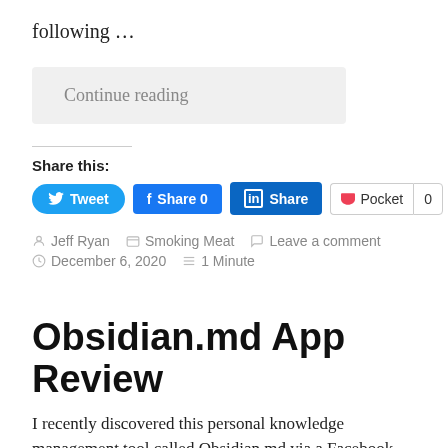following …
Continue reading
Share this:
Tweet  Share 0  Share  Pocket  0
Jeff Ryan   Smoking Meat   Leave a comment   December 6, 2020   1 Minute
Obsidian.md App Review
I recently discovered this personal knowledge management tool called Obsidian.md via a Facebook